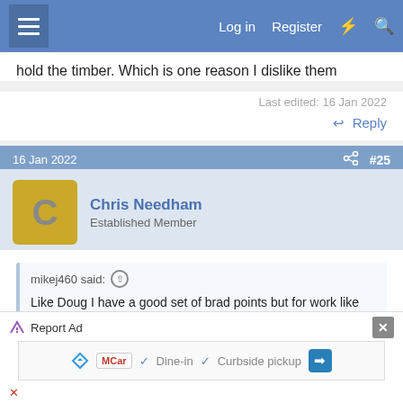Log in  Register
hold the timber. Which is one reason I dislike them
Last edited: 16 Jan 2022
Reply
16 Jan 2022  #25
Chris Needham
Established Member
mikej460 said:
Like Doug I have a good set of brad points but for work like skirting I use jobber drills and plugs. Have a look at these from SabreCut
11pcs Countersink Zippy Set - SCRKZ1 | SabreCut
[Figure (screenshot): Ad banner: Report Ad with close button, showing MCar ad with Dine-in and Curbside pickup options]